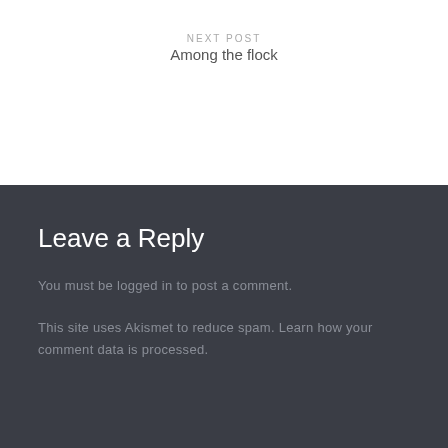NEXT POST
Among the flock
Leave a Reply
You must be logged in to post a comment.
This site uses Akismet to reduce spam. Learn how your comment data is processed.